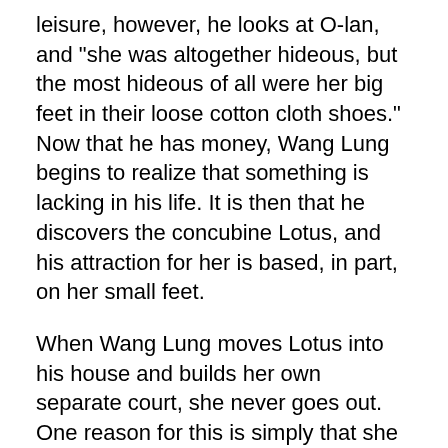leisure, however, he looks at O-lan, and "she was altogether hideous, but the most hideous of all were her big feet in their loose cotton cloth shoes." Now that he has money, Wang Lung begins to realize that something is lacking in his life. It is then that he discovers the concubine Lotus, and his attraction for her is based, in part, on her small feet.
When Wang Lung moves Lotus into his house and builds her own separate court, she never goes out. One reason for this is simply that she cannot walk very far on her bound feet. She is kept like a toy or a pet, one who is expected to serve no other function than being a sex object.
Wang Lung's change in attitude is also shown in his view of his daughter. He makes O-lan bind the girl's feet so that it can enable her to find a good husband. Thus even Wang Lung, basically a mere farmer, represents the Chinese's long tradition of considering small feet to be associated with